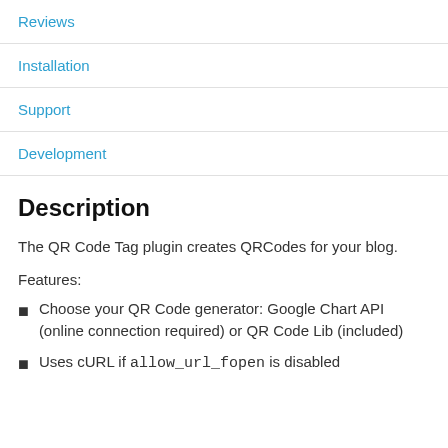Reviews
Installation
Support
Development
Description
The QR Code Tag plugin creates QRCodes for your blog.
Features:
Choose your QR Code generator: Google Chart API (online connection required) or QR Code Lib (included)
Uses cURL if allow_url_fopen is disabled